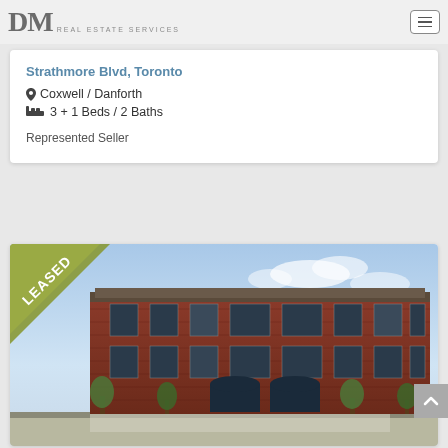[Figure (logo): DM Real Estate Services logo with large serif DM letters and smaller text REAL ESTATE SERVICES]
Strathmore Blvd, Toronto
Coxwell / Danforth
3 + 1 Beds / 2 Baths
Represented Seller
[Figure (photo): Exterior rendering of a multi-story brick building with LEASED banner in the top-left corner]